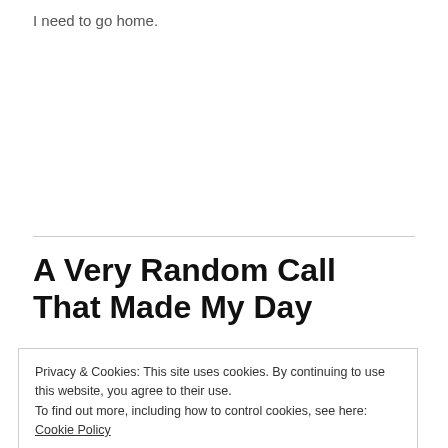I need to go home.
A Very Random Call That Made My Day
Privacy & Cookies: This site uses cookies. By continuing to use this website, you agree to their use.
To find out more, including how to control cookies, see here: Cookie Policy
Close and accept